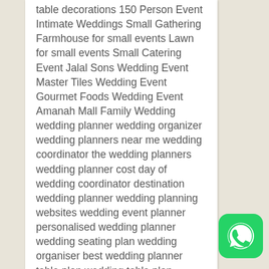table decorations 150 Person Event Intimate Weddings Small Gathering Farmhouse for small events Lawn for small events Small Catering Event Jalal Sons Wedding Event Master Tiles Wedding Event Gourmet Foods Wedding Event Amanah Mall Family Wedding wedding planner wedding organizer wedding planners near me wedding coordinator the wedding planners wedding planner cost day of wedding coordinator destination wedding planner wedding planning websites wedding event planner personalised wedding planner wedding seating plan wedding organiser best wedding planner table plan wedding table plan wedding stylist wedding table decorations wedding budget planner day of coordinator wedding consultant wedding company bridal planner proposal planner wedding table decorations steps to planning a wedding
[Figure (logo): WhatsApp icon button - green rounded square with white phone handset inside chat bubble]